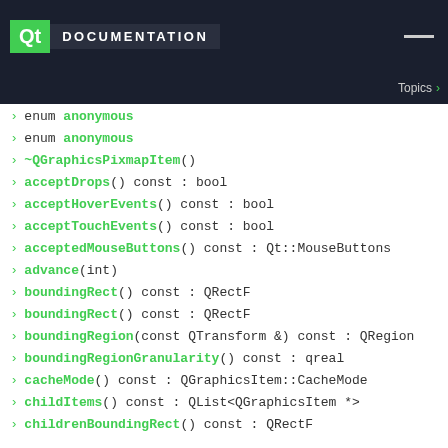Qt DOCUMENTATION
enum anonymous
enum anonymous
~QGraphicsPixmapItem()
acceptDrops() const : bool
acceptHoverEvents() const : bool
acceptTouchEvents() const : bool
acceptedMouseButtons() const : Qt::MouseButtons
advance(int)
boundingRect() const : QRectF
boundingRect() const : QRectF
boundingRegion(const QTransform &) const : QRegion
boundingRegionGranularity() const : qreal
cacheMode() const : QGraphicsItem::CacheMode
childItems() const : QList<QGraphicsItem *>
childrenBoundingRect() const : QRectF